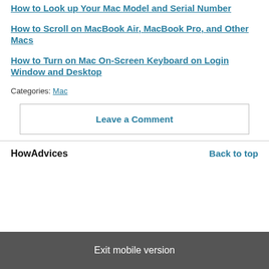How to Look up Your Mac Model and Serial Number
How to Scroll on MacBook Air, MacBook Pro, and Other Macs
How to Turn on Mac On-Screen Keyboard on Login Window and Desktop
Categories: Mac
Leave a Comment
HowAdvices  Back to top
Exit mobile version